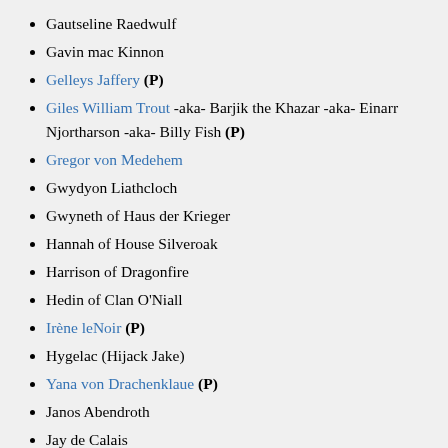Gautseline Raedwulf
Gavin mac Kinnon
Gelleys Jaffery (P)
Giles William Trout -aka- Barjik the Khazar -aka- Einarr Njortharson -aka- Billy Fish (P)
Gregor von Medehem
Gwydyon Liathcloch
Gwyneth of Haus der Krieger
Hannah of House Silveroak
Harrison of Dragonfire
Hedin of Clan O'Niall
Irène leNoir (P)
Hygelac (Hijack Jake)
Yana von Drachenklaue (P)
Janos Abendroth
Jay de Calais
Jeremiah of Clan O'Niall